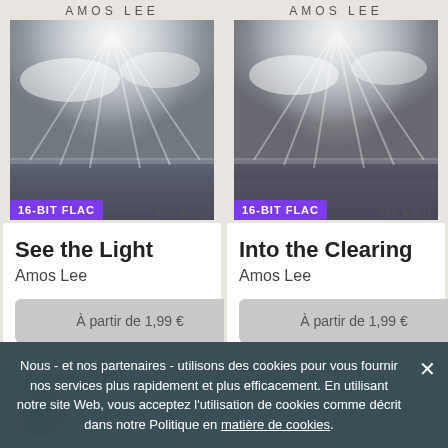AMOS LEE
[Figure (photo): Album cover for 'See the Light' by Amos Lee - black and white photo of dramatic sky with rays over a beach/ocean. Badge showing '16-BIT FLAC'. Text 'MLAND' partially visible.]
See the Light
Amos Lee
À partir de 1,99 €
AMOS LEE
[Figure (photo): Album cover for 'Into the Clearing' by Amos Lee - black and white photo of dramatic sky with rays over a beach/ocean. Badge showing '16-BIT FLAC'. Text 'MLAND' partially visible.]
Into the Clearing
Amos Lee
À partir de 1,99 €
[Figure (screenshot): Partial album art - AMOS LEE | My New Moon - with partial illustration]
[Figure (screenshot): Partial album art - AMOS with dark bar above text]
Nous - et nos partenaires - utilisons des cookies pour vous fournir nos services plus rapidement et plus efficacement. En utilisant notre site Web, vous acceptez l'utilisation de cookies comme décrit dans notre Politique en matière de cookies.